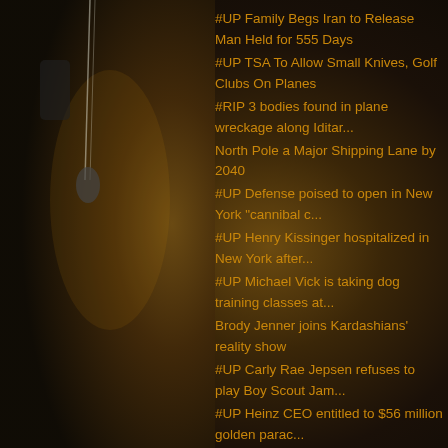[Figure (photo): Dark background with blurred microphone and warm amber/brown lighting on the left side of the image]
#UP Family Begs Iran to Release Man Held for 555 Days
#UP TSA To Allow Small Knives, Golf Clubs On Planes
#RIP 3 bodies found in plane wreckage along Iditar...
North Pole a Major Shipping Lane by 2040
#UP Defense poised to open in New York "cannibal c...
#UP Henry Kissinger hospitalized in New York after...
#UP Michael Vick is taking dog training classes at...
Brody Jenner joins Kardashians' reality show
#UP Carly Rae Jepsen refuses to play Boy Scout Jam...
#UP Heinz CEO entitled to $56 million golden parac...
Pilot reports spotting 'drone' over Brooklyn
Second sinkhole appears in Tampa area
#UP Bret Michaels meltdown: Rocker loses it after ...
Chicago snow storm cancels 1,000 flights
911 call reveals nurse refused to give dying woman...
Geneva Motor Show: Porsche unveils 475-horsepower ...
Massive storm rolls into Chicago, eyes East Coast